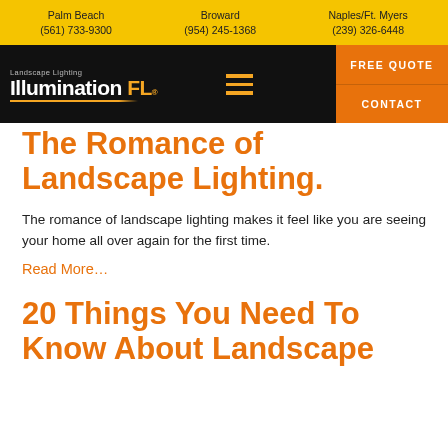Palm Beach (561) 733-9300 | Broward (954) 245-1368 | Naples/Ft. Myers (239) 326-6448
[Figure (logo): Landscape Lighting by Illumination FL logo on black navbar with hamburger menu and orange FREE QUOTE and CONTACT buttons]
The Romance of Landscape Lighting.
The romance of landscape lighting makes it feel like you are seeing your home all over again for the first time.
Read More...
20 Things You Need To Know About Landscape